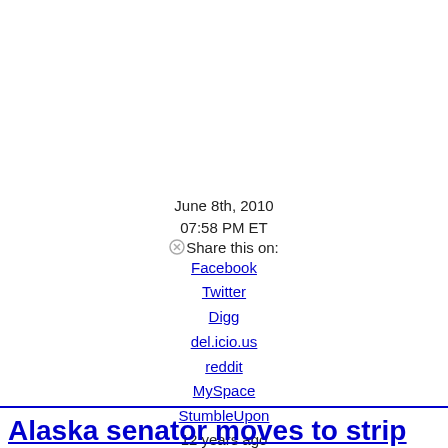June 8th, 2010
07:58 PM ET
Share this on:
Facebook
Twitter
Digg
del.icio.us
reddit
MySpace
StumbleUpon
12 years ago
Alaska senator moves to strip